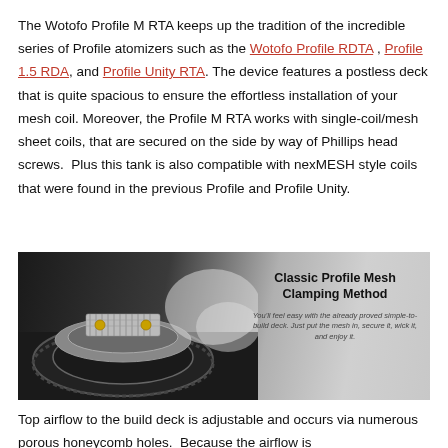The Wotofo Profile M RTA keeps up the tradition of the incredible series of Profile atomizers such as the Wotofo Profile RDTA , Profile 1.5 RDA, and Profile Unity RTA. The device features a postless deck that is quite spacious to ensure the effortless installation of your mesh coil. Moreover, the Profile M RTA works with single-coil/mesh sheet coils, that are secured on the side by way of Phillips head screws.  Plus this tank is also compatible with nexMESH style coils that were found in the previous Profile and Profile Unity.
[Figure (photo): Product photo of the Wotofo Profile M RTA atomizer showing the mesh clamping deck with coil installed, on a dark background with vapor/smoke. Text overlay reads 'Classic Profile Mesh Clamping Method' with subtext 'You'll feel easy with the already proved simple-to-build deck. Just put the mesh in, secure it, wick it, and enjoy it.']
Top airflow to the build deck is adjustable and occurs via numerous porous honeycomb holes.  Because the airflow is